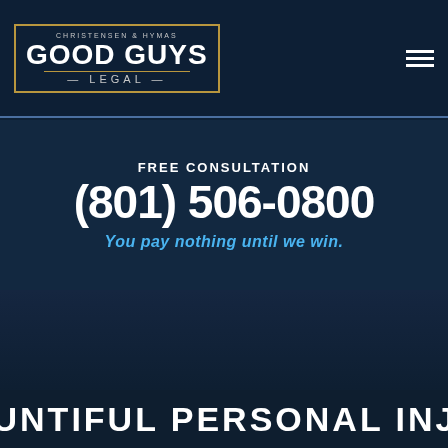[Figure (logo): Good Guys Legal logo with gold border, 'Christensen & Hymas' above, 'GOOD GUYS' large text, separator line, 'LEGAL' below]
FREE CONSULTATION
(801) 506-0800
You pay nothing until we win.
[Figure (photo): Dark blue background image, likely outdoor or court scene, very dark and mostly obscured]
BOUNTIFUL PERSONAL INJUR